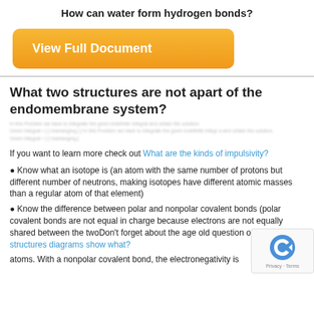How can water form hydrogen bonds?
[Figure (other): Orange 'View Full Document' button]
What two structures are not apart of the endomembrane system?
[blurred preview text]
If you want to learn more check out What are the kinds of impulsivity?
Know what an isotope is (an atom with the same number of protons but different number of neutrons, making isotopes have different atomic masses than a regular atom of that element)
Know the difference between polar and nonpolar covalent bonds (polar covalent bonds are not equal in charge because electrons are not equally shared between the twoDon't forget about the age old question of Lewis dot structures diagrams show what?
atoms. With a nonpolar covalent bond, the electronegativity is